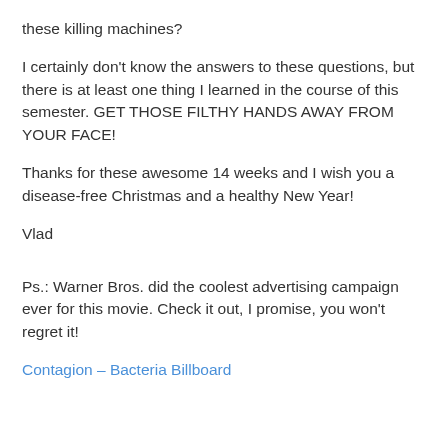these killing machines?
I certainly don't know the answers to these questions, but there is at least one thing I learned in the course of this semester. GET THOSE FILTHY HANDS AWAY FROM YOUR FACE!
Thanks for these awesome 14 weeks and I wish you a disease-free Christmas and a healthy New Year!
Vlad
Ps.: Warner Bros. did the coolest advertising campaign ever for this movie. Check it out, I promise, you won't regret it!
Contagion – Bacteria Billboard